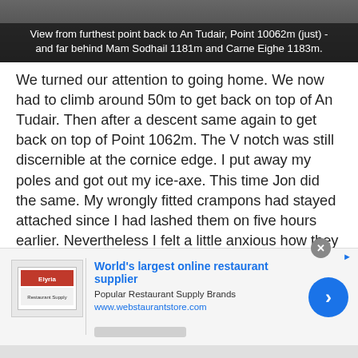[Figure (photo): Dark image strip with overlaid caption text describing a mountain view. Caption reads: 'View from furthest point back to An Tudair, Point 10062m (just) - and far behind Mam Sodhail 1181m and Carne Eighe 1183m.']
We turned our attention to going home. We now had to climb around 50m to get back on top of An Tudair. Then after a descent same again to get back on top of Point 1062m. The V notch was still discernible at the cornice edge. I put away my poles and got out my ice-axe. This time Jon did the same. My wrongly fitted crampons had stayed attached since I had lashed them on five hours earlier. Nevertheless I felt a little anxious how they would fare with the added demands of a tricky descent, with rocks to negotiate. Jon agreed to break trail again for the descent – although we had high hopes we'd be able to follow the footsteps we made coming up.
[Figure (infographic): Advertisement banner for webstaurantstore.com - World's largest online restaurant supplier. Shows logo, text 'Popular Restaurant Supply Brands', URL www.webstaurantstore.com, and a blue circular CTA button with right arrow.]